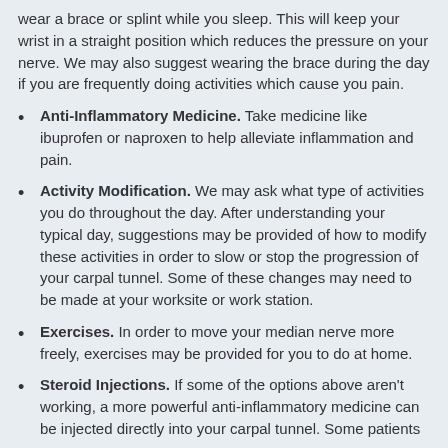wear a brace or splint while you sleep. This will keep your wrist in a straight position which reduces the pressure on your nerve. We may also suggest wearing the brace during the day if you are frequently doing activities which cause you pain.
Anti-Inflammatory Medicine. Take medicine like ibuprofen or naproxen to help alleviate inflammation and pain.
Activity Modification. We may ask what type of activities you do throughout the day. After understanding your typical day, suggestions may be provided of how to modify these activities in order to slow or stop the progression of your carpal tunnel. Some of these changes may need to be made at your worksite or work station.
Exercises. In order to move your median nerve more freely, exercises may be provided for you to do at home.
Steroid Injections. If some of the options above aren't working, a more powerful anti-inflammatory medicine can be injected directly into your carpal tunnel. Some patients